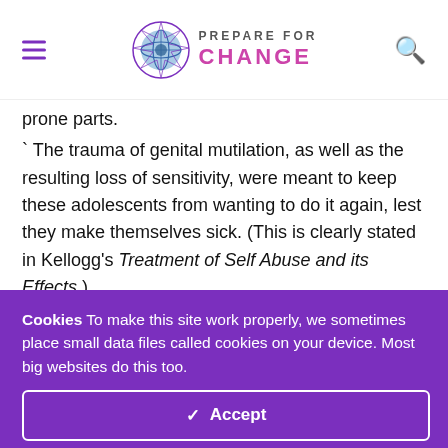Prepare for Change
prone parts. ` The trauma of genital mutilation, as well as the resulting loss of sensitivity, were meant to keep these adolescents from wanting to do it again, lest they make themselves sick. (This is clearly stated in Kellogg's Treatment of Self Abuse and its Effects.) ` A bland vegetarian diet was believed by many to curb sexual
Cookies To make this site work properly, we sometimes place small data files called cookies on your device. Most big websites do this too.
✓ Accept
Change Settings ⚙